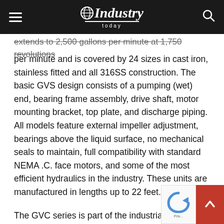Industry Today
extends to 2,500 gallons per minute at 1,750 revolutions per minute and is covered by 24 sizes in cast iron, stainless fitted and all 316SS construction. The basic GVS design consists of a pumping (wet) end, bearing frame assembly, drive shaft, motor mounting bracket, top plate, and discharge piping. All models feature external impeller adjustment, bearings above the liquid surface, no mechanical seals to maintain, full compatibility with standard NEMA .C. face motors, and some of the most efficient hydraulics in the industry. These units are manufactured in lengths up to 22 feet.
The GVC series is part of the industrial services section and is a vertical pump series for handling fluids at moderate to high flow rates. The standard design is a